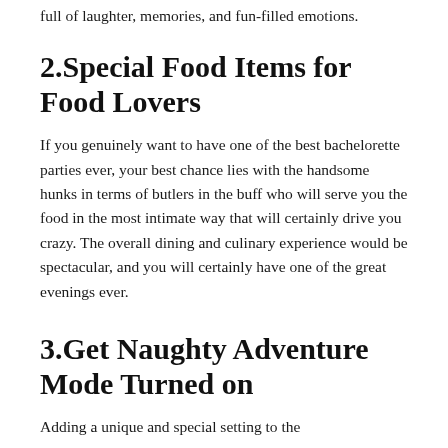full of laughter, memories, and fun-filled emotions.
2.Special Food Items for Food Lovers
If you genuinely want to have one of the best bachelorette parties ever, your best chance lies with the handsome hunks in terms of butlers in the buff who will serve you the food in the most intimate way that will certainly drive you crazy. The overall dining and culinary experience would be spectacular, and you will certainly have one of the great evenings ever.
3.Get Naughty Adventure Mode Turned on
Adding a unique and special setting to the